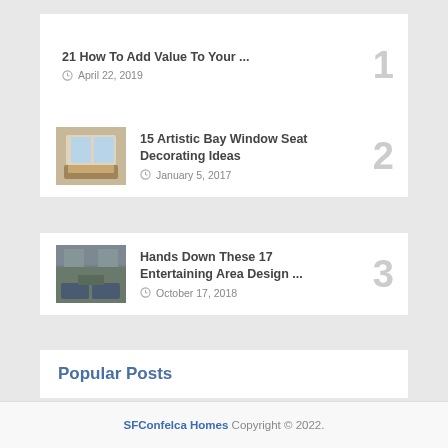21 How To Add Value To Your ... April 22, 2019 (rank 1)
15 Artistic Bay Window Seat Decorating Ideas January 5, 2017 (rank 2)
Hands Down These 17 Entertaining Area Design ... October 17, 2018 (rank 3)
Popular Posts
SFConfelca Homes Copyright © 2022.